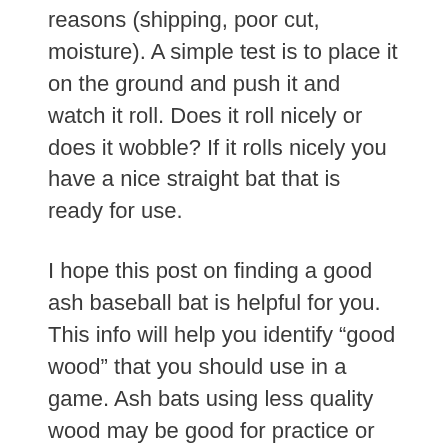reasons (shipping, poor cut, moisture). A simple test is to place it on the ground and push it and watch it roll. Does it roll nicely or does it wobble? If it rolls nicely you have a nice straight bat that is ready for use.
I hope this post on finding a good ash baseball bat is helpful for you. This info will help you identify “good wood” that you should use in a game. Ash bats using less quality wood may be good for practice or for trading with your friends that don’t know what good wood looks like (just kidding).